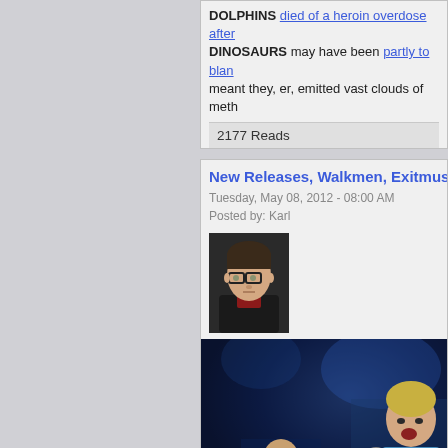DOLPHINS died of a heroin overdose after... DINOSAURS may have been partly to blame... meant they, er, emitted vast clouds of meth...
2177 Reads
New Releases, Walkmen, Exitmusic, Ben...
Tuesday, May 08, 2012 - 08:00 AM
Posted by: Karl
[Figure (photo): Headshot of Karl, a young man with dark hair and glasses wearing a dark jacket and red shirt]
[Figure (photo): Concert photo showing a performer singing into a microphone under blue stage lighting]